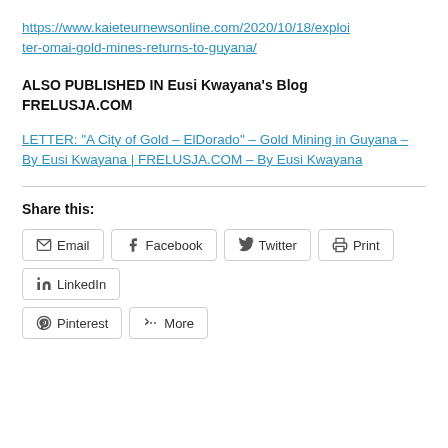https://www.kaieteurnewsonline.com/2020/10/18/exploiter-omai-gold-mines-returns-to-guyana/
ALSO PUBLISHED IN Eusi Kwayana's Blog FRELUSJA.COM
LETTER: “A City of Gold – ElDorado” – Gold Mining in Guyana – By Eusi Kwayana | FRELUSJA.COM – By Eusi Kwayana
Share this:
Email
Facebook
Twitter
Print
LinkedIn
Pinterest
More